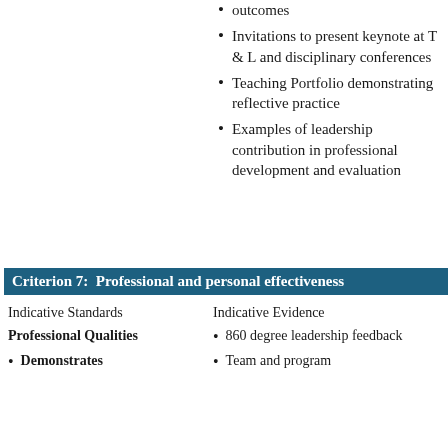outcomes
Invitations to present keynote at T & L and disciplinary conferences
Teaching Portfolio demonstrating reflective practice
Examples of leadership contribution in professional development and evaluation
Criterion 7:  Professional and personal effectiveness
| Indicative Standards | Indicative Evidence |
| --- | --- |
| Professional Qualities | • 860 degree leadership feedback |
| • Demonstrates | • Team and program |